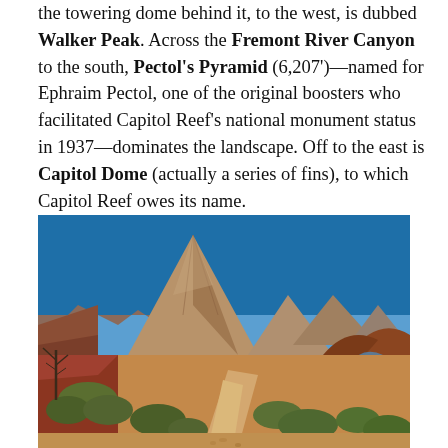the towering dome behind it, to the west, is dubbed Walker Peak. Across the Fremont River Canyon to the south, Pectol's Pyramid (6,207')—named for Ephraim Pectol, one of the original boosters who facilitated Capitol Reef's national monument status in 1937—dominates the landscape. Off to the east is Capitol Dome (actually a series of fins), to which Capitol Reef owes its name.
[Figure (photo): Landscape photograph of a desert trail leading toward a tall rocky peak (Pectol's Pyramid) under a clear blue sky, with red rock formations, sparse desert vegetation including shrubs and a dead tree, and a natural rock arch visible on the right side.]